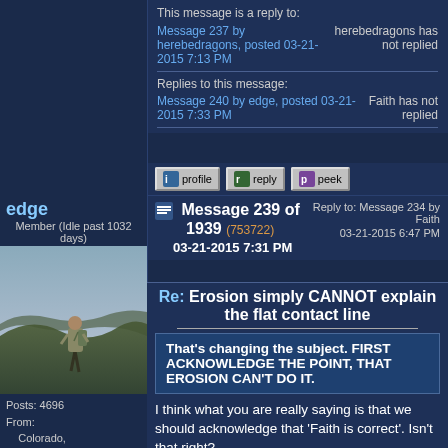This message is a reply to:
Message 237 by herebedragons, posted 03-21-2015 7:13 PM
herebedragons has not replied
Replies to this message:
Message 240 by edge, posted 03-21-2015 7:33 PM
Faith has not replied
profile   reply   peek
edge
Member (Idle past 1032 days)
Message 239 of 1939 (753722)
03-21-2015 7:31 PM
Reply to: Message 234 by Faith
03-21-2015 6:47 PM
Re: Erosion simply CANNOT explain the flat contact line
That’s changing the subject. FIRST ACKNOWLEDGE THE POINT, THAT EROSION CAN'T DO IT.
I think what you are really saying is that we should acknowledge that ‘Faith is correct’. Isn’t that right?
Posts: 4696
From:
    Colorado, USA
Joined: